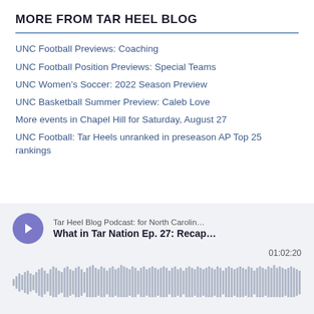MORE FROM TAR HEEL BLOG
UNC Football Previews: Coaching
UNC Football Position Previews: Special Teams
UNC Women’s Soccer: 2022 Season Preview
UNC Basketball Summer Preview: Caleb Love
More events in Chapel Hill for Saturday, August 27
UNC Football: Tar Heels unranked in preseason AP Top 25 rankings
[Figure (other): Podcast player widget showing Tar Heel Blog Podcast: for North Carolin... - What in Tar Nation Ep. 27: Recap... with play button, timestamp 01:02:20, and audio waveform visualization]